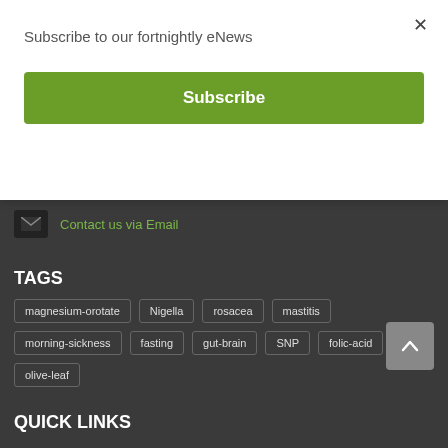Subscribe to our fortnightly eNews
Subscribe
×
Contact us via Email
TAGS
magnesium-orotate
Nigella
rosacea
mastitis
morning-sickness
fasting
gut-brain
SNP
folic-acid
olive-leaf
QUICK LINKS